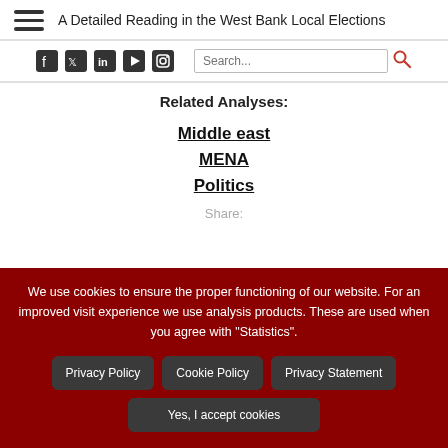A Detailed Reading in the West Bank Local Elections
Related Analyses:
Middle east
MENA
Politics
Share:
We use cookies to ensure the proper functioning of our website. For an improved visit experience we use analysis products. These are used when you agree with "Statistics".
Privacy Policy | Cookie Policy | Privacy Statement | Yes, I accept cookies